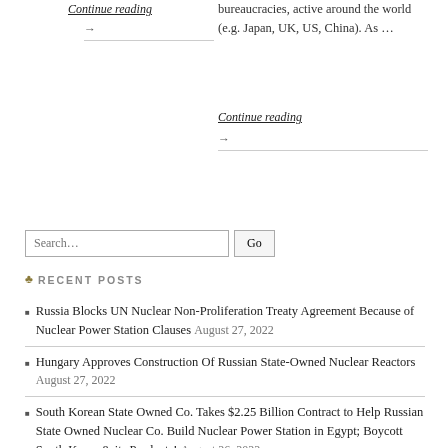Continue reading
→
bureaucracies, active around the world (e.g. Japan, UK, US, China). As …
Continue reading
→
Search…
RECENT POSTS
Russia Blocks UN Nuclear Non-Proliferation Treaty Agreement Because of Nuclear Power Station Clauses August 27, 2022
Hungary Approves Construction Of Russian State-Owned Nuclear Reactors August 27, 2022
South Korean State Owned Co. Takes $2.25 Billion Contract to Help Russian State Owned Nuclear Co. Build Nuclear Power Station in Egypt; Boycott South Korea & its Products! August 26, 2022
Why No One Should Trust Congresswoman Ocasio-Cortez With Money